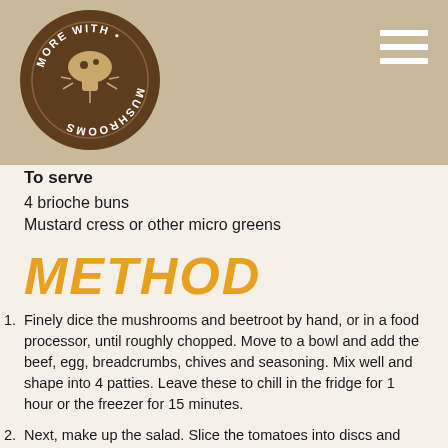[Figure (logo): More With Mushrooms circular logo — brown circle with a mushroom illustration and text reading MORE WITH MUSHROOMS around the edge]
To serve
4 brioche buns
Mustard cress or other micro greens
METHOD
Finely dice the mushrooms and beetroot by hand, or in a food processor, until roughly chopped. Move to a bowl and add the beef, egg, breadcrumbs, chives and seasoning. Mix well and shape into 4 patties. Leave these to chill in the fridge for 1 hour or the freezer for 15 minutes.
Next, make up the salad. Slice the tomatoes into discs and mix with the red onion. Whisk together the vinegar, mustard and oil with a little pinch of salt and dress the salad. Leave to marinate while